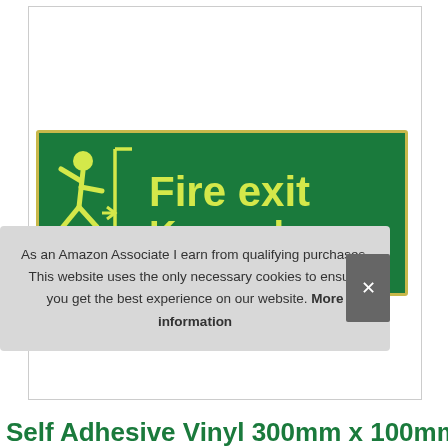[Figure (illustration): A photoluminescent fire exit keep clear sign. Green background with yellow-green border. Shows a running man figure on the left side and text 'Fire exit Keep clear' in large yellow-green bold font on the right.]
As an Amazon Associate I earn from qualifying purchases. This website uses the only necessary cookies to ensure you get the best experience on our website. More information
Self Adhesive Vinyl 300mm x 100mm